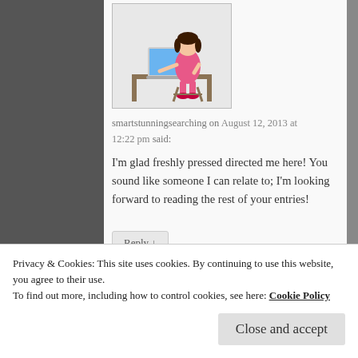[Figure (illustration): Cartoon avatar of a woman in a pink dress sitting at a laptop computer]
smartstunningsearching on August 12, 2013 at 12:22 pm said:
I'm glad freshly pressed directed me here! You sound like someone I can relate to; I'm looking forward to reading the rest of your entries!
Reply ↓
[Figure (photo): Small avatar photo of Belle of the Library]
Belle of the Library on August 12, 2013 at 1:11 pm
Privacy & Cookies: This site uses cookies. By continuing to use this website, you agree to their use.
To find out more, including how to control cookies, see here: Cookie Policy
Close and accept